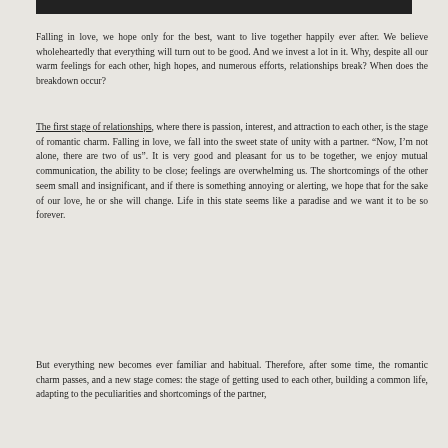[Figure (photo): Dark image bar at the top of the page]
Falling in love, we hope only for the best, want to live together happily ever after. We believe wholeheartedly that everything will turn out to be good. And we invest a lot in it. Why, despite all our warm feelings for each other, high hopes, and numerous efforts, relationships break? When does the breakdown occur?
The first stage of relationships, where there is passion, interest, and attraction to each other, is the stage of romantic charm. Falling in love, we fall into the sweet state of unity with a partner. “Now, I’m not alone, there are two of us”. It is very good and pleasant for us to be together, we enjoy mutual communication, the ability to be close; feelings are overwhelming us. The shortcomings of the other seem small and insignificant, and if there is something annoying or alerting, we hope that for the sake of our love, he or she will change. Life in this state seems like a paradise and we want it to be so forever.
But everything new becomes ever familiar and habitual. Therefore, after some time, the romantic charm passes, and a new stage comes: the stage of getting used to each other, building a common life, adapting to the peculiarities and shortcomings of the partner,